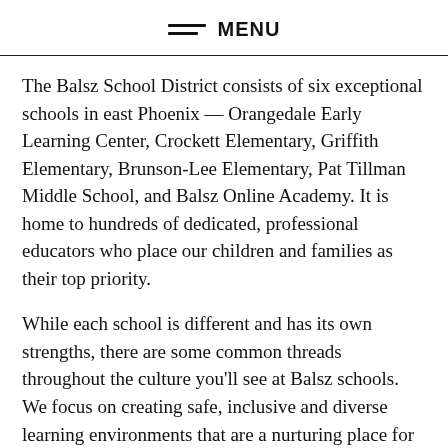MENU
The Balsz School District consists of six exceptional schools in east Phoenix — Orangedale Early Learning Center, Crockett Elementary, Griffith Elementary, Brunson-Lee Elementary, Pat Tillman Middle School, and Balsz Online Academy. It is home to hundreds of dedicated, professional educators who place our children and families as their top priority.
While each school is different and has its own strengths, there are some common threads throughout the culture you'll see at Balsz schools. We focus on creating safe, inclusive and diverse learning environments that are a nurturing place for children to grow and develop.